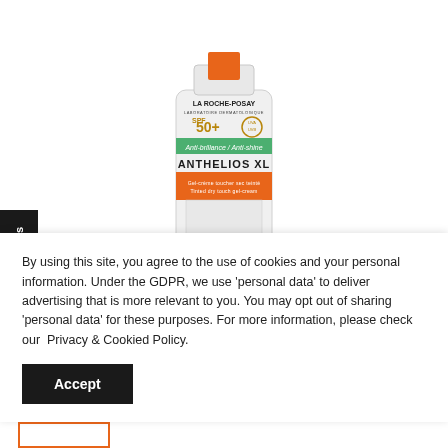[Figure (photo): La Roche-Posay Anthelios XL SPF 50+ Anti-brillance/Anti-shine Dry Touch Gel-Cream sunscreen tube product image]
Reviews
By using this site, you agree to the use of cookies and your personal information. Under the GDPR, we use 'personal data' to deliver advertising that is more relevant to you. You may opt out of sharing 'personal data' for these purposes. For more information, please check our Privacy & Cookied Policy.
Accept